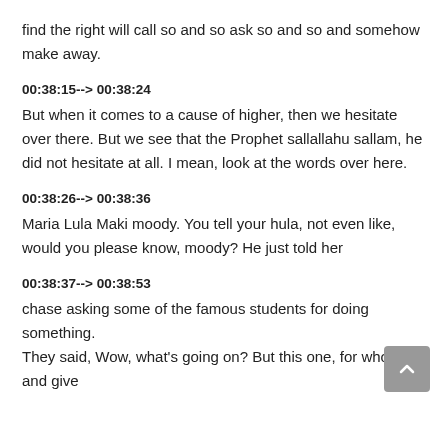find the right will call so and so ask so and so and somehow make away.
00:38:15--> 00:38:24
But when it comes to a cause of higher, then we hesitate over there. But we see that the Prophet sallallahu sallam, he did not hesitate at all. I mean, look at the words over here.
00:38:26--> 00:38:36
Maria Lula Maki moody. You tell your hula, not even like, would you please know, moody? He just told her
00:38:37--> 00:38:53
chase asking some of the famous students for doing something. They said, Wow, what's going on? But this one, for whom and give